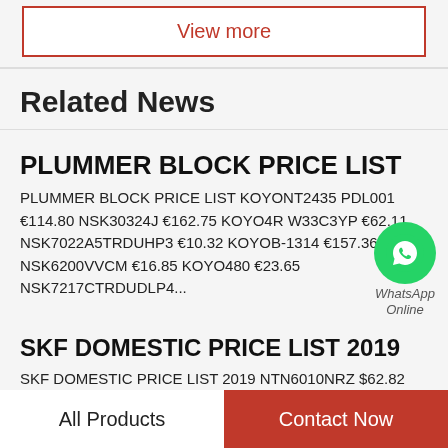View more
Related News
PLUMMER BLOCK PRICE LIST
PLUMMER BLOCK PRICE LIST KOYONT...2435 PDL001 €114.80 NSK30324J €162.75 KOYO...4R W33C3YP €62.11 NSK7022A5TRDUHP3 €10.32 KOYOB-1314 €157.36 NSK6200VVCM €16...85 KOYO480 €23.65 NSK7217CTRDUDLP4...
SKF DOMESTIC PRICE LIST 2019
SKF DOMESTIC PRICE LIST 2019 NTN6010NRZ $62.82 TIMKENLL778149-30038/LL778110-30038
All Products   Contact Now